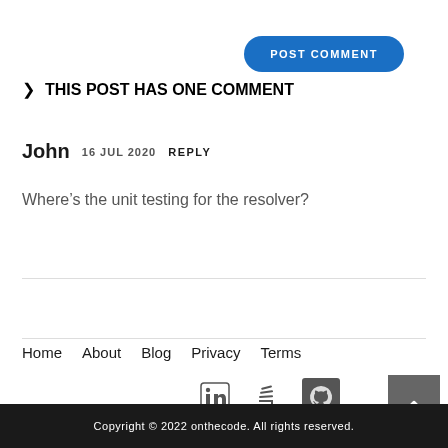POST COMMENT
> THIS POST HAS ONE COMMENT
John  16 JUL 2020  REPLY
Where’s the unit testing for the resolver?
Home  About  Blog  Privacy  Terms
Copyright © 2022 onthecode. All rights reserved.